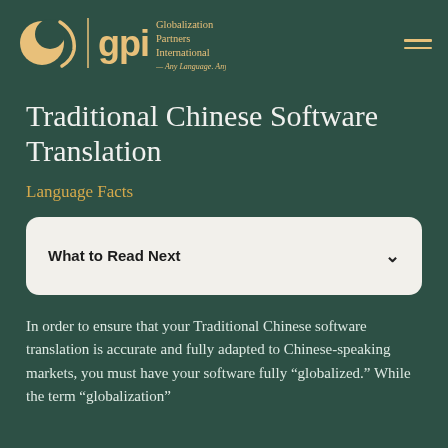[Figure (logo): GPI - Globalization Partners International logo with text 'Any Language. Any Locale.' on dark teal background]
Traditional Chinese Software Translation
Language Facts
What to Read Next
In order to ensure that your Traditional Chinese software translation is accurate and fully adapted to Chinese-speaking markets, you must have your software fully “globalized.” While the term “globalization”